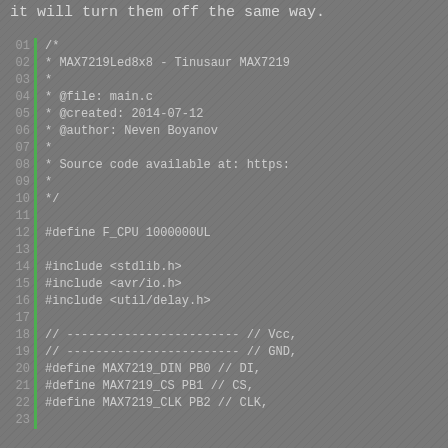it will turn them off the same way.
Code listing: MAX7219Led8x8 - Tinusaur MAX7219 example, main.c, created 2014-07-12, author Neven Boyanov. Defines F_CPU, includes stdlib.h, avr/io.h, util/delay.h. Defines MAX7219_DIN PB0, MAX7219_CS PB1, MAX7219_CLK PB2.